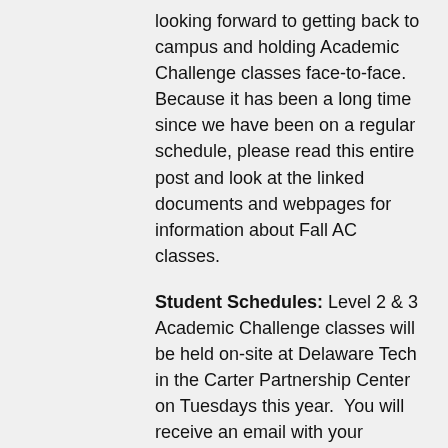looking forward to getting back to campus and holding Academic Challenge classes face-to-face.   Because it has been a long time since we have been on a regular schedule, please read this entire post and look at the linked documents and webpages for information about Fall AC classes.
Student Schedules: Level 2 & 3 Academic Challenge classes will be held on-site at Delaware Tech in the Carter Partnership Center on Tuesdays this year.  You will receive an email with your student's schedule the week of August 2, 2021.  On your student's schedule, the course title, instructor, course meeting time, room number, Zoom meeting link (for office hours), and instructor email address are indicated. Our first day of classes meet in